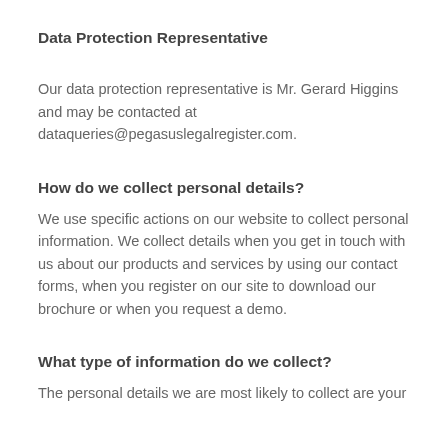Data Protection Representative
Our data protection representative is Mr. Gerard Higgins and may be contacted at dataqueries@pegasuslegalregister.com.
How do we collect personal details?
We use specific actions on our website to collect personal information. We collect details when you get in touch with us about our products and services by using our contact forms, when you register on our site to download our brochure or when you request a demo.
What type of information do we collect?
The personal details we are most likely to collect are your